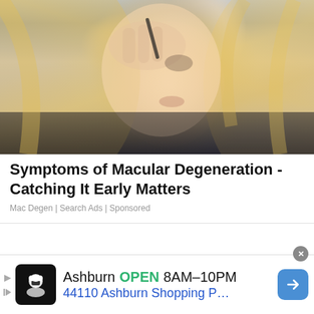[Figure (photo): Blonde woman applying eye makeup with a black makeup applicator, wearing dark clothing, photographed close-up against a blurred background]
Symptoms of Macular Degeneration - Catching It Early Matters
Mac Degen | Search Ads | Sponsored
[Figure (photo): Brunette woman with long hair in front of illuminated vanity mirror bulbs against a wood-panel background]
Ashburn OPEN 8AM–10PM 44110 Ashburn Shopping P…